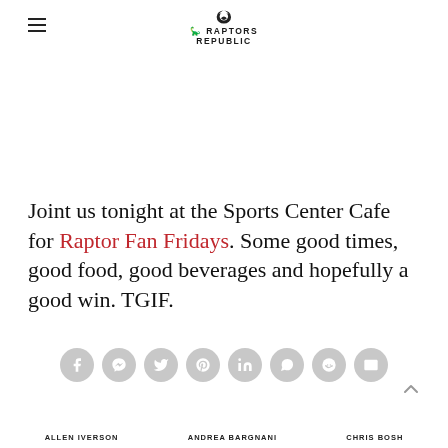RAPTORS REPUBLIC
Joint us tonight at the Sports Center Cafe for Raptor Fan Fridays. Some good times, good food, good beverages and hopefully a good win. TGIF.
[Figure (infographic): Social sharing buttons: Facebook, Messenger, Twitter, Pinterest, LinkedIn, WhatsApp, Reddit, Email]
ALLEN IVERSON   ANDREA BARGNANI   CHRIS BOSH